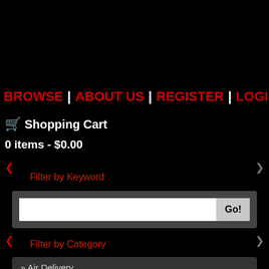BROWSE | ABOUT US | REGISTER | LOGIN
Shopping Cart
0 items - $0.00
Filter by Keyword
Go!
Filter by Category
» Air Delivery
» Circle Track
» Cooling
» Dress Up Kits
» Electrical